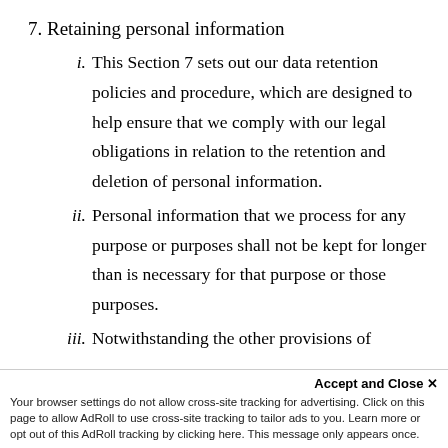7. Retaining personal information
i. This Section 7 sets out our data retention policies and procedure, which are designed to help ensure that we comply with our legal obligations in relation to the retention and deletion of personal information.
ii. Personal information that we process for any purpose or purposes shall not be kept for longer than is necessary for that purpose or those purposes.
iii. Notwithstanding the other provisions of
Accept and Close ✕
Your browser settings do not allow cross-site tracking for advertising. Click on this page to allow AdRoll to use cross-site tracking to tailor ads to you. Learn more or opt out of this AdRoll tracking by clicking here. This message only appears once.